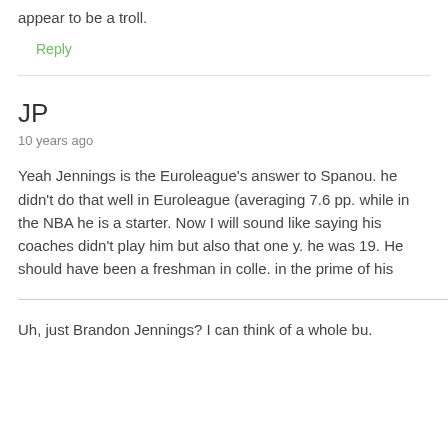appear to be a troll.
Reply
JP
10 years ago
Yeah Jennings is the Euroleague's answer to Spanou... he didn't do that well in Euroleague (averaging 7.6 pp... while in the NBA he is a starter. Now I will sound like... saying his coaches didn't play him but also that one y... he was 19. He should have been a freshman in colle... in the prime of his
Uh, just Brandon Jennings? I can think of a whole bu...